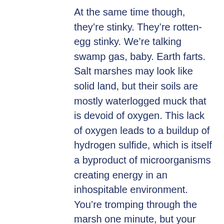At the same time though, they're stinky. They're rotten-egg stinky. We're talking swamp gas, baby. Earth farts. Salt marshes may look like solid land, but their soils are mostly waterlogged muck that is devoid of oxygen. This lack of oxygen leads to a buildup of hydrogen sulfide, which is itself a byproduct of microorganisms creating energy in an inhospitable environment. You're tromping through the marsh one minute, but your next step sinks knee-deep into the muck, releasing that lovely rotten-egg smell.
An aquatic ecologist (me) generally experiences entering the salt marsh by first